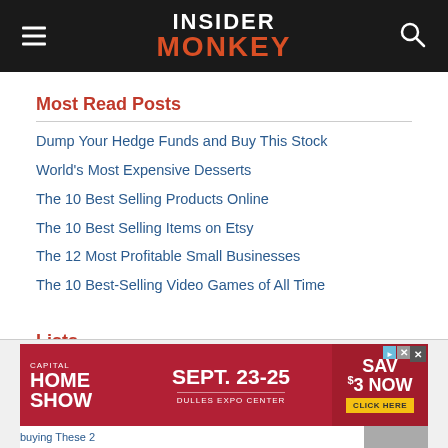INSIDER MONKEY
Most Read Posts
Dump Your Hedge Funds and Buy This Stock
World's Most Expensive Desserts
The 10 Best Selling Products Online
The 10 Best Selling Items on Etsy
The 12 Most Profitable Small Businesses
The 10 Best-Selling Video Games of All Time
Lists
[Figure (screenshot): Advertisement banner: Capital Home Show, Sept. 23-25, Dulles Expo Center, Save $3 Now, Click Here]